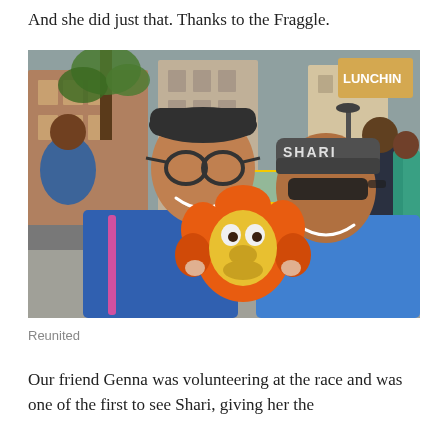And she did just that. Thanks to the Fraggle.
[Figure (photo): Selfie photo of two people smiling on a city street with a Fraggle Rock puppet between them. The man on the left wears glasses and a cap; the woman on the right wears a visor that reads 'SHARI' and a blue rain jacket. A yellow taxi and city buildings are visible in the background.]
Reunited
Our friend Genna was volunteering at the race and was one of the first to see Shari, giving her the